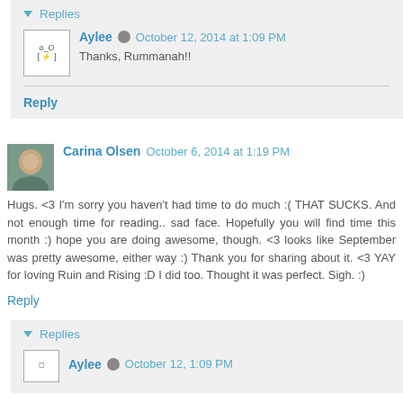Replies
Aylee  October 12, 2014 at 1:09 PM
Thanks, Rummanah!!
Reply
Carina Olsen  October 6, 2014 at 1:19 PM
Hugs. <3 I'm sorry you haven't had time to do much :( THAT SUCKS. And not enough time for reading.. sad face. Hopefully you will find time this month :) hope you are doing awesome, though. <3 looks like September was pretty awesome, either way :) Thank you for sharing about it. <3 YAY for loving Ruin and Rising :D I did too. Thought it was perfect. Sigh. :)
Reply
Replies
Aylee  October 12, 1:09 PM